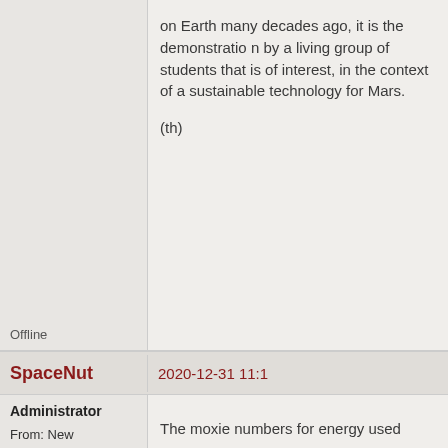on Earth many decades ago, it is the demonstration by a living group of students that is of interest, in the context of a sustainable technology for Mars.

(th)
Offline
SpaceNut
2020-12-31 11:1
Administrator
From: New Hampshire
Registered: 2004-07-22
The moxie numbers for energy used